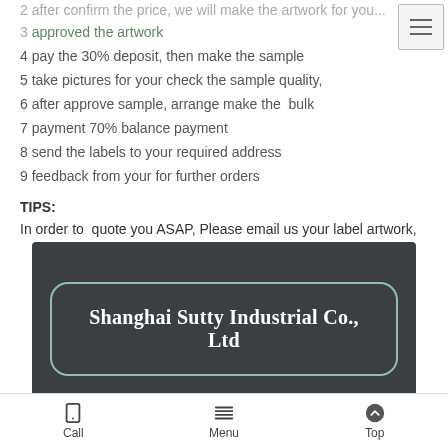2 after confirm the price, we will make the artwork for you...
3 approved the artwork
4 pay the 30% deposit, then make the sample
5 take pictures for your check the sample quality,
6 after approve sample, arrange make the  bulk
7 payment 70% balance payment
8 send the labels to your required address
9 feedback from your for further orders
TIPS:
In order to  quote you ASAP, Please email us your label artwork,
[Figure (logo): Shanghai Sutty Industrial Co., Ltd company logo on dark background with rounded rectangle border]
Call  Menu  Top